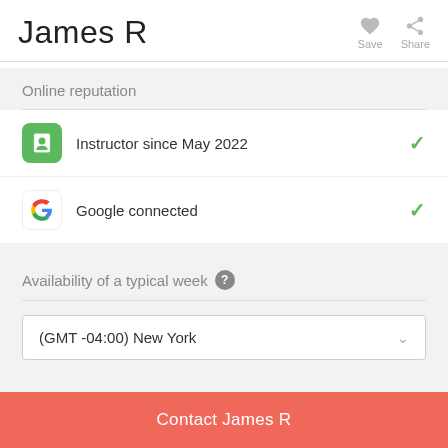James R
Save
Share
Online reputation
Instructor since May 2022
Google connected
Availability of a typical week
(GMT -04:00) New York
Contact James R